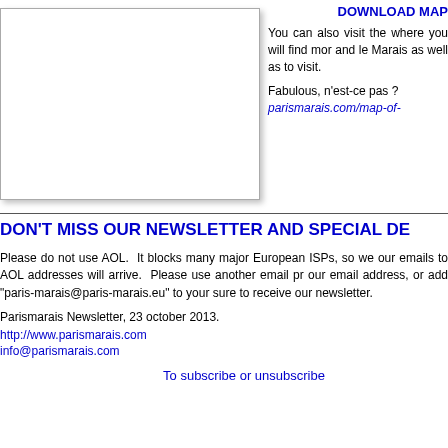[Figure (other): Map image placeholder shown as white box with border and shadow]
DOWNLOAD MAP
You can also visit the where you will find mor and le Marais as well as to visit.
Fabulous, n'est-ce pas ? parismarais.com/map-of-
DON'T MISS OUR NEWSLETTER AND SPECIAL DE
Please do not use AOL. It blocks many major European ISPs, so we our emails to AOL addresses will arrive. Please use another email pr our email address, or add "paris-marais@paris-marais.eu" to your sure to receive our newsletter.
Parismarais Newsletter, 23 october 2013.
http://www.parismarais.com
info@parismarais.com
To subscribe or unsubscribe